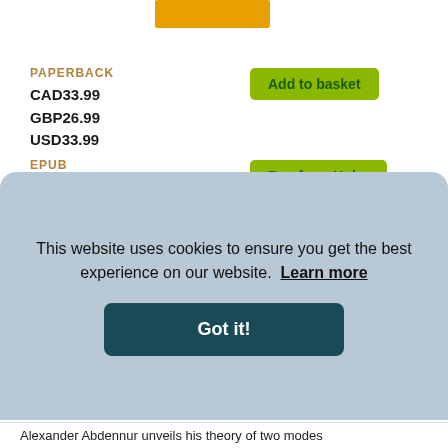[Figure (other): Yellow/orange book cover thumbnail at top]
PAPERBACK
CAD33.99
GBP26.99
USD33.99
Add to basket
EPUB
CAD33.99
GBP23.99
USD33.99
Buy from Kobo
ELECTRONIC BOOK TEXT
CAD33.99
GBP23.99
Buy from Amazon
This website uses cookies to ensure you get the best experience on our website.  Learn more
Got it!
Alexander Abdennur unveils his theory of two modes